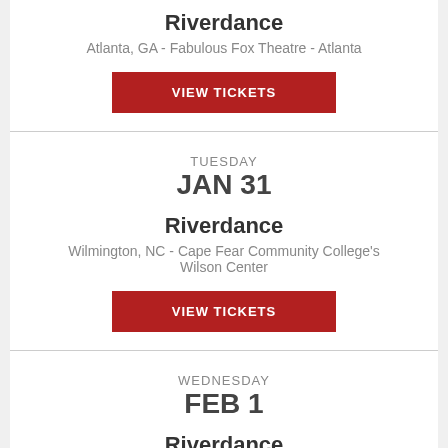Riverdance
Atlanta, GA - Fabulous Fox Theatre - Atlanta
VIEW TICKETS
TUESDAY
JAN 31
Riverdance
Wilmington, NC - Cape Fear Community College's Wilson Center
VIEW TICKETS
WEDNESDAY
FEB 1
Riverdance